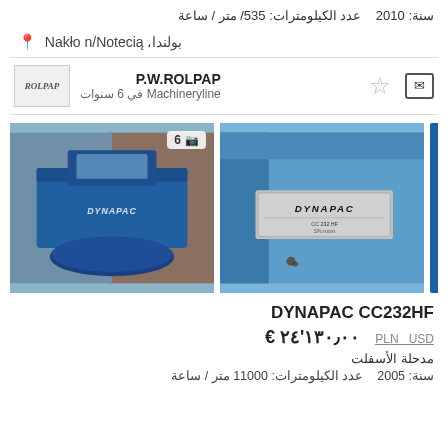سنة: 2010  عدد الكيلومترات: 535/ متر / ساعة
بولندا، Nakło n/Notecią
P.W.ROLPAP  Machineryline في 6 سنوات
[Figure (photo): Two photos of a Dynapac CC232HF road roller. Left image shows close-up of the Dynapac nameplate/label on blue machine body. Right image shows full view of the blue Dynapac roller machine outdoors.]
DYNAPAC CC232HF
€ 24'130,00  PLN  USD
مدحلة الأسفلت
سنة: 2005  عدد الكيلومترات: 11000 متر / ساعة